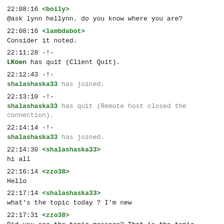22:08:16 <boily>
@ask lynn hellynn. do you know where you are?
22:08:16 <lambdabot>
Consider it noted.
22:11:28 -!-
LKoen has quit (Client Quit).
22:12:43 -!-
shalashaska33 has joined.
22:13:10 -!-
shalashaska33 has quit (Remote host closed the connection).
22:14:14 -!-
shalashaska33 has joined.
22:14:30 <shalashaska33>
hi all
22:16:14 <zzo38>
Hello
22:17:14 <shalashaska33>
what's the topic today ? I'm new
22:17:31 <zzo38>
Did you see the topic message? That is the topic today.
22:17:40 <zzo38>
The topic in general is a bit different question.
22:17:43 <wob_jonas>